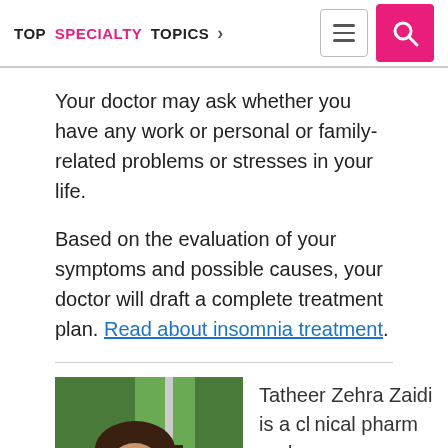TOP SPECIALTY TOPICS
Your doctor may ask whether you have any work or personal or family-related problems or stresses in your life.
Based on the evaluation of your symptoms and possible causes, your doctor will draft a complete treatment plan. Read about insomnia treatment.
[Figure (photo): Photo of Tatheer Zehra Zaidi, a clinical pharmacist]
Tatheer Zehra Zaidi is a clinical pharm and